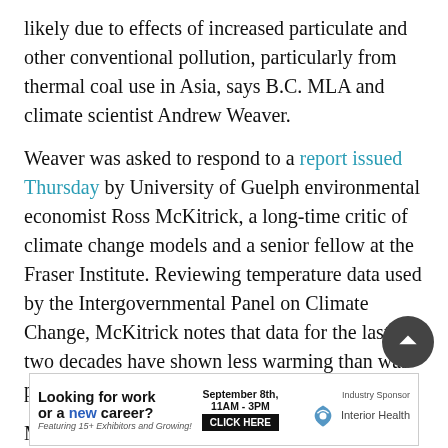likely due to effects of increased particulate and other conventional pollution, particularly from thermal coal use in Asia, says B.C. MLA and climate scientist Andrew Weaver.
Weaver was asked to respond to a report issued Thursday by University of Guelph environmental economist Ross McKitrick, a long-time critic of climate change models and a senior fellow at the Fraser Institute. Reviewing temperature data used by the Intergovernmental Panel on Climate Change, McKitrick notes that data for the last two decades have shown less warming than was predicted by most climate models.
McKitrick does not challenge the conclusion that human-
[Figure (other): Advertisement banner: 'Looking for work or a new career? Featuring 15+ Exhibitors and Growing! September 8th, 11AM-3PM CLICK HERE Industry Sponsor Interior Health']